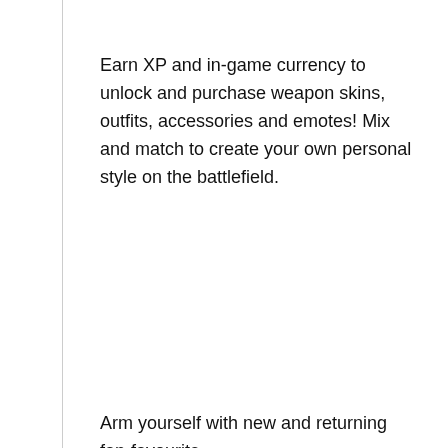Earn XP and in-game currency to unlock and purchase weapon skins, outfits, accessories and emotes! Mix and match to create your own personal style on the battlefield.
Arm yourself with new and returning fan-favourite